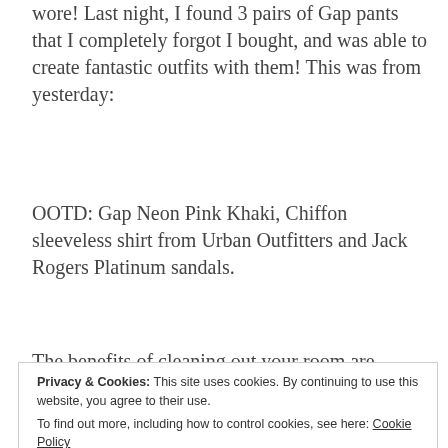wore! Last night, I found 3 pairs of Gap pants that I completely forgot I bought, and was able to create fantastic outfits with them! This was from yesterday:
OOTD: Gap Neon Pink Khaki, Chiffon sleeveless shirt from Urban Outfitters and Jack Rogers Platinum sandals.
The benefits of cleaning out your room are endless. You are able to dive into an abyss filled with clothing and come out with a clean, organized room AND
Privacy & Cookies: This site uses cookies. By continuing to use this website, you agree to their use.
To find out more, including how to control cookies, see here: Cookie Policy
[Close and accept]
expiration date, the wrong color, broken, or empty